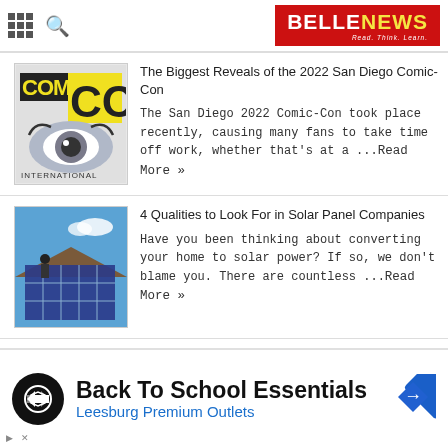BELLENEWS — Read. Think. Learn.
The Biggest Reveals of the 2022 San Diego Comic-Con
The San Diego 2022 Comic-Con took place recently, causing many fans to take time off work, whether that's at a ...Read More »
4 Qualities to Look For in Solar Panel Companies
Have you been thinking about converting your home to solar power? If so, we don't blame you. There are countless ...Read More »
4 Dental Emergencies You Should Never Ignore
Those who have previously experienced a dental emergency
Back To School Essentials
Leesburg Premium Outlets